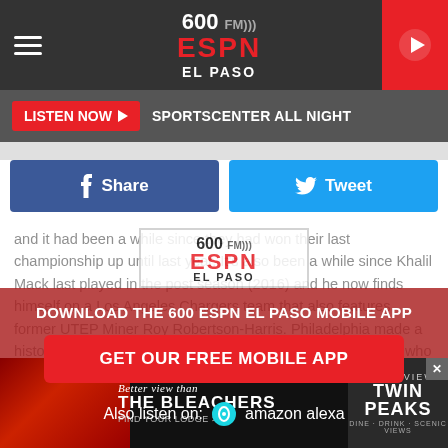[Figure (logo): 600 FM ESPN El Paso radio station logo in white/red on dark header bar]
LISTEN NOW ▶  SPORTSCENTER ALL NIGHT
Share
Tweet
and it had been a while since they had won their last championship up until last year. It's also been a while since Khalil Mack last played in the post season (2016) and he now finds himself on a Los Angeles Chargers team that also features former UTEP Miner Roy Robertson-Harris. Philadelphia made a historic Super Bowl run last winter behind the arm of the guy who was behind their franchise QB and this year it would seem crazy to believe that Nick Foles won't be ready again. Foles will have to put
DOWNLOAD THE 600 ESPN EL PASO MOBILE APP
GET OUR FREE MOBILE APP
Also listen on:  amazon alexa
[Figure (screenshot): Twin Peaks advertisement banner: Better view than THE BLEACHERS - TWIN PEAKS - Better view than THE BLEACHERS - FIND YOUR LODGE >]